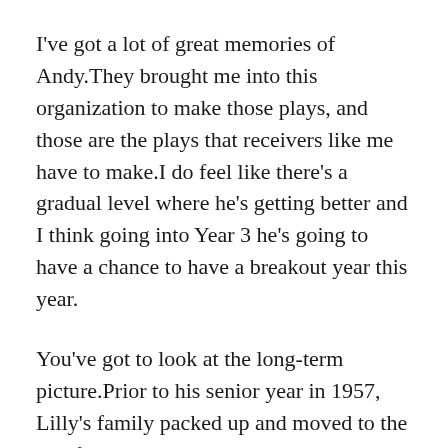I've got a lot of great memories of Andy.They brought me into this organization to make those plays, and those are the plays that receivers like me have to make.I do feel like there's a gradual level where he's getting better and I think going into Year 3 he's going to have a chance to have a breakout year this year.
You've got to look at the long-term picture.Prior to his senior year in 1957, Lilly's family packed up and moved to the Pacific Northwest when drought struck their hometown of Throckmorton, 160 miles west of Dallas.Couldn't customize your own football